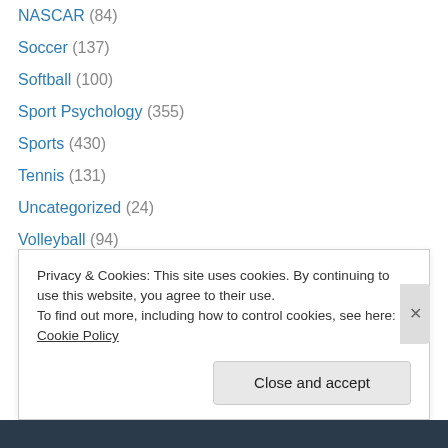NASCAR (84)
Soccer (137)
Softball (100)
Sport Psychology (355)
Sports (430)
Tennis (131)
Uncategorized (24)
Volleyball (94)
Pages
About MoS Foundation
Privacy & Cookies: This site uses cookies. By continuing to use this website, you agree to their use.
To find out more, including how to control cookies, see here: Cookie Policy